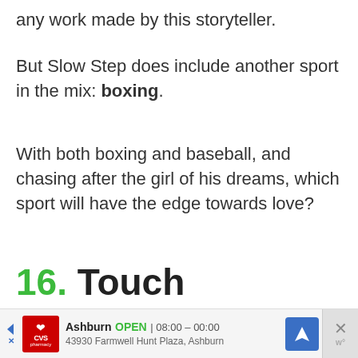any work made by this storyteller.
But Slow Step does include another sport in the mix: boxing.
With both boxing and baseball, and chasing after the girl of his dreams, which sport will have the edge towards love?
16. Touch
[Figure (photo): Partial photo of what appears to be sports equipment or apparel, shown cropped at bottom of page]
[Figure (other): CVS Pharmacy advertisement banner showing Ashburn location, OPEN 08:00-00:00, 43930 Farmwell Hunt Plaza, Ashburn, with navigation icon and close button]